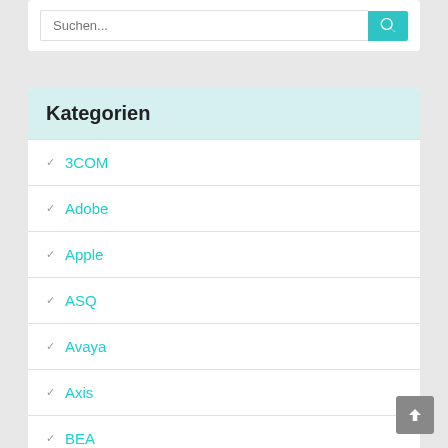Suchen...
Kategorien
3COM
Adobe
Apple
ASQ
Avaya
Axis
BEA
CA
CheckPoint
Cisco
Citrix